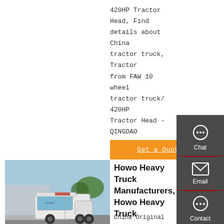420HP Tractor Head, Find details about China tractor truck, Tractor from FAW 10 wheel tractor truck/ 420HP Tractor Head - QINGDAO HETANCH TRUCK CO., LTD.
Get a Quote
[Figure (photo): White Howo heavy truck / tractor head parked in a lot with trees and buildings in background]
Howo Heavy Truck Manufacturers, Howo Heavy Truck
China Original HOWO 12 Wheeler 371HP 375HP 8X4